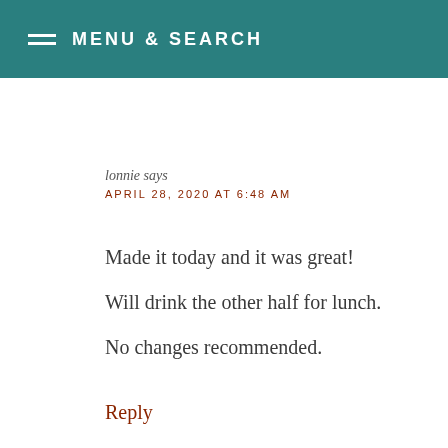MENU & SEARCH
lonnie says
APRIL 28, 2020 AT 6:48 AM
Made it today and it was great! Will drink the other half for lunch. No changes recommended.
Reply